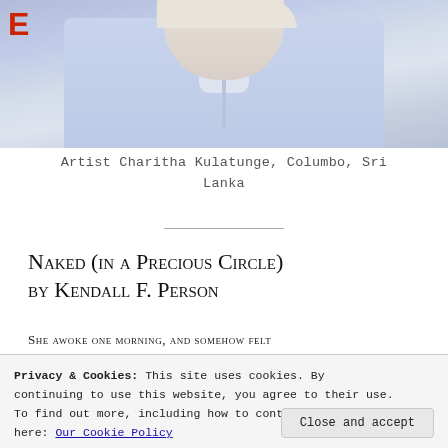[Figure (photo): Partial photo of a person in a light blue shirt, with a red TED logo visible in the top left corner]
Artist Charitha Kulatunge, Columbo, Sri Lanka
Naked (in a Precious Circle) by Kendall F. Person
She awoke one morning, and somehow felt
Privacy & Cookies: This site uses cookies. By continuing to use this website, you agree to their use. To find out more, including how to control cookies, see here: Our Cookie Policy
Close and accept